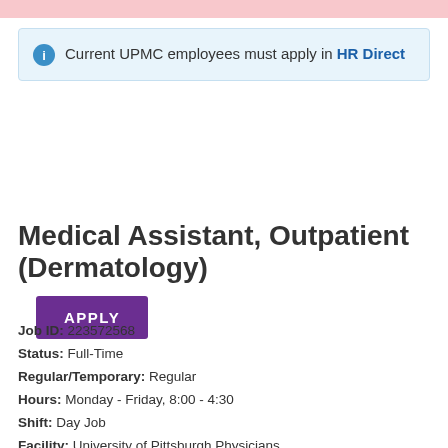Current UPMC employees must apply in HR Direct
APPLY
Medical Assistant, Outpatient (Dermatology)
Job ID: 223572568
Status: Full-Time
Regular/Temporary: Regular
Hours: Monday - Friday, 8:00 - 4:30
Shift: Day Job
Facility: University of Pittsburgh Physicians
Department: 60763 POP07 DERM Shadyside
Location: 580 South Aiken Avenue, Pittsburgh PA